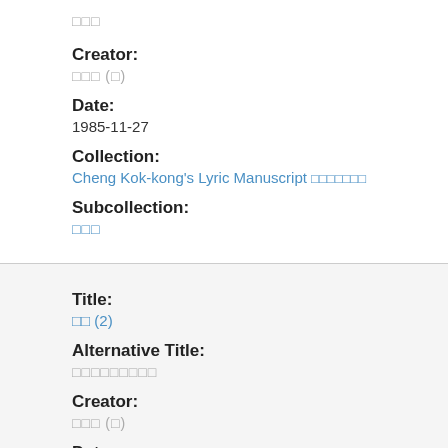□□□
Creator:
□□□ (□)
Date:
1985-11-27
Collection:
Cheng Kok-kong's Lyric Manuscript □□□□□□□
Subcollection:
□□□
Title:
□□ (2)
Alternative Title:
□□□□□□□□□
Creator:
□□□ (□)
Date: